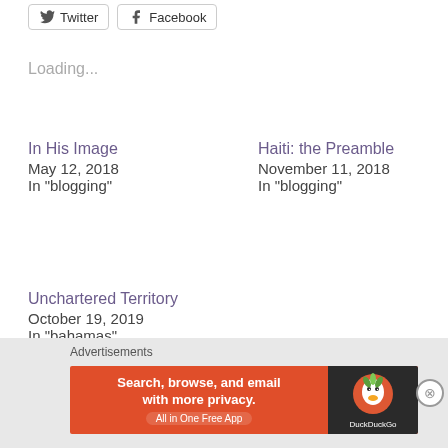Twitter  Facebook (social share buttons)
Loading...
In His Image
May 12, 2018
In "blogging"
Haiti: the Preamble
November 11, 2018
In "blogging"
Unchartered Territory
October 19, 2019
In "bahamas"
Tags: Believe, Blog, Christian, Faith, Go, God, Haiti, Hope, Love, Mission, Peace, Pray, Prayer, Promise
Advertisements
Search, browse, and email with more privacy. All in One Free App  DuckDuckGo